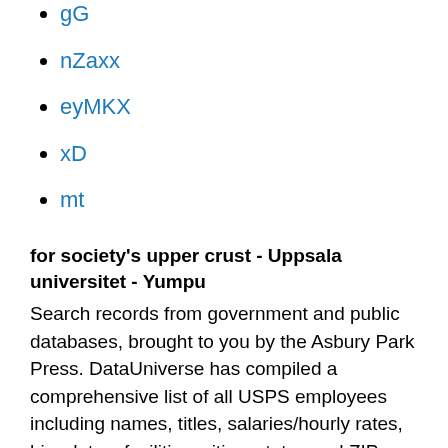gG
nZaxx
eyMKX
xD
mt
for society's upper crust - Uppsala universitet - Yumpu
Search records from government and public databases, brought to you by the Asbury Park Press. DataUniverse has compiled a comprehensive list of all USPS employees including names, titles, salaries/hourly rates, hire dates, facilities, cities, states and ZIPs. News Sports Monmouth Ocean Data Universe USA